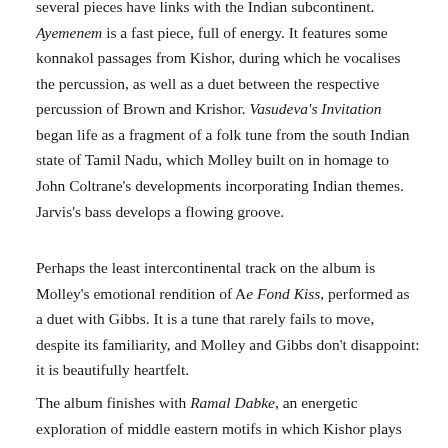several pieces have links with the Indian subcontinent. Ayemenem is a fast piece, full of energy. It features some konnakol passages from Kishor, during which he vocalises the percussion, as well as a duet between the respective percussion of Brown and Krishor. Vasudeva's Invitation began life as a fragment of a folk tune from the south Indian state of Tamil Nadu, which Molley built on in homage to John Coltrane's developments incorporating Indian themes. Jarvis's bass develops a flowing groove.
Perhaps the least intercontinental track on the album is Molley's emotional rendition of Ae Fond Kiss, performed as a duet with Gibbs. It is a tune that rarely fails to move, despite its familiarity, and Molley and Gibbs don't disappoint: it is beautifully heartfelt.
The album finishes with Ramal Dabke, an energetic exploration of middle eastern motifs in which Kishor plays the djembe, a